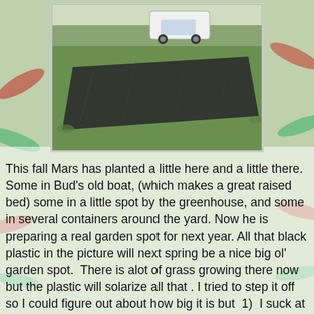[Figure (photo): Outdoor photo showing a large black plastic tarp spread over grass in a yard, with a white pickup truck and trees visible in the background.]
This fall Mars has planted a little here and a little there.  Some in Bud's old boat, (which makes a great raised bed) some in a little spot by the greenhouse, and some in several containers around the yard. Now he is preparing a real garden spot for next year. All that black plastic in the picture will next spring be a nice big ol' garden spot.  There is alot of grass growing there now but the plastic will solarize all that . I tried to step it off so I could figure out about how big it is but  1)  I suck at measuring,  and  2) my math skills are uhm... horrible.  I THINK it is about 40' x 60'  but there is a good amount of guess work